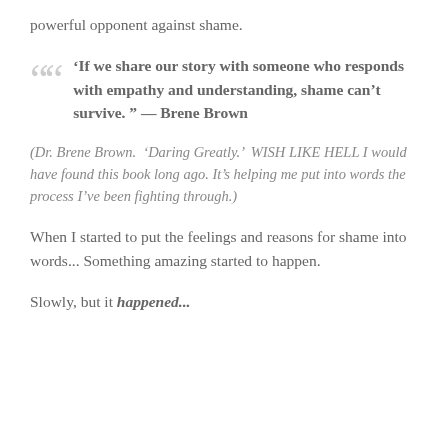powerful opponent against shame.
‘If we share our story with someone who responds with empathy and understanding, shame can’t survive. ” — Brene Brown
(Dr. Brene Brown.  ‘Daring Greatly.’  WISH LIKE HELL I would have found this book long ago. It’s helping me put into words the process I’ve been fighting through.)
When I started to put the feelings and reasons for shame into words... Something amazing started to happen.
Slowly, but it happened...